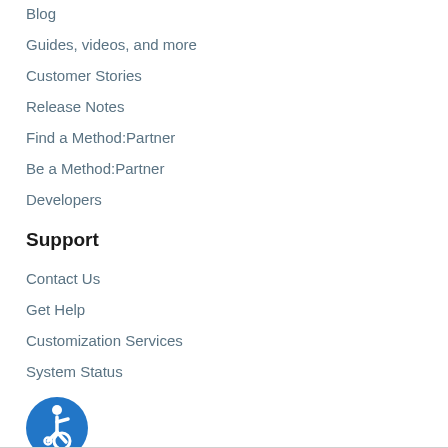Blog
Guides, videos, and more
Customer Stories
Release Notes
Find a Method:Partner
Be a Method:Partner
Developers
Support
Contact Us
Get Help
Customization Services
System Status
[Figure (illustration): Blue circle accessibility icon with a wheelchair user symbol in white]